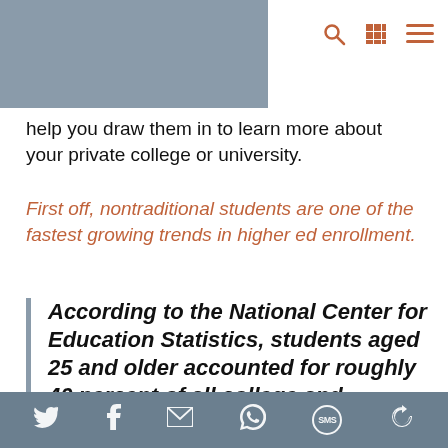[Navigation header with search, grid, and menu icons]
help you draw them in to learn more about your private college or university.
First off, nontraditional students are one of the fastest growing trends in higher ed enrollment.
According to the National Center for Education Statistics, students aged 25 and older accounted for roughly 40 percent of all college and graduate students in the year
[Social share bar: Twitter, Facebook, Email, WhatsApp, SMS, Rotate]